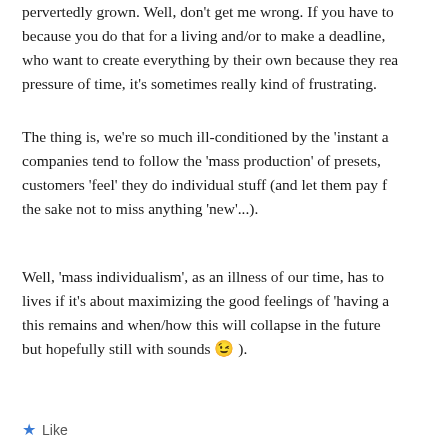pervertedly grown. Well, don't get me wrong. If you have to because you do that for a living and/or to make a deadline, who want to create everything by their own because they rea pressure of time, it's sometimes really kind of frustrating.
The thing is, we're so much ill-conditioned by the 'instant a companies tend to follow the 'mass production' of presets, customers 'feel' they do individual stuff (and let them pay f the sake not to miss anything 'new'...).
Well, 'mass individualism', as an illness of our time, has to lives if it's about maximizing the good feelings of 'having a this remains and when/how this will collapse in the future but hopefully still with sounds 😉 ).
★ Like
eric
September 6, 2019 at 9:05 am   Reply